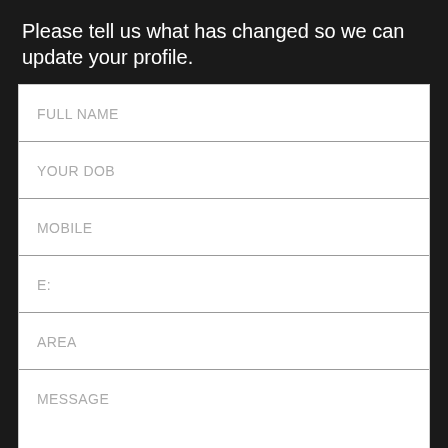Please tell us what has changed so we can update your profile.
| FULL NAME |
| YOUR DOB |
| MOBILE |
| E: |
| AREA |
| MESSAGE |